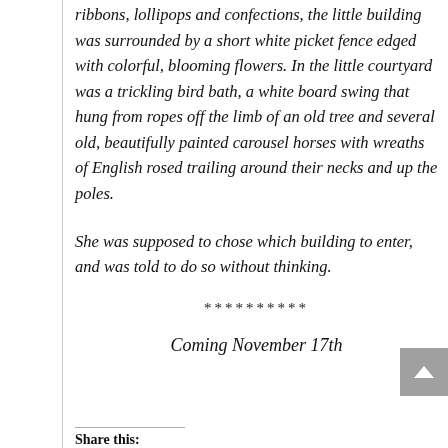ribbons, lollipops and confections, the little building was surrounded by a short white picket fence edged with colorful, blooming flowers. In the little courtyard was a trickling bird bath, a white board swing that hung from ropes off the limb of an old tree and several old, beautifully painted carousel horses with wreaths of English rosed trailing around their necks and up the poles.
She was supposed to chose which building to enter, and was told to do so without thinking.
**********
Coming November 17th
Share this: